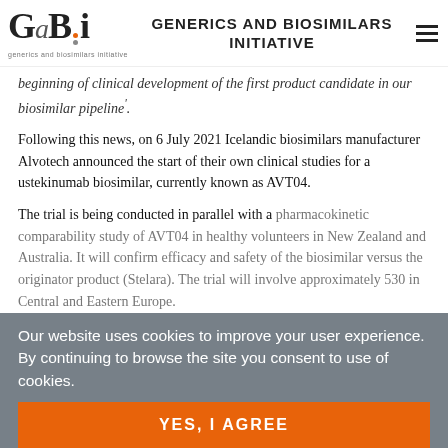GaBi online — GENERICS AND BIOSIMILARS INITIATIVE
beginning of clinical development of the first product candidate in our biosimilar pipeline'.
Following this news, on 6 July 2021 Icelandic biosimilars manufacturer Alvotech announced the start of their own clinical studies for a ustekinumab biosimilar, currently known as AVT04.
The trial is being conducted in parallel with a pharmacokinetic comparability study of AVT04 in healthy volunteers in New Zealand and Australia. It will confirm efficacy and safety of the biosimilar versus the originator product (Stelara). The trial will involve approximately 530 in Central and Eastern Europe.
Our website uses cookies to improve your user experience. By continuing to browse the site you consent to use of cookies.